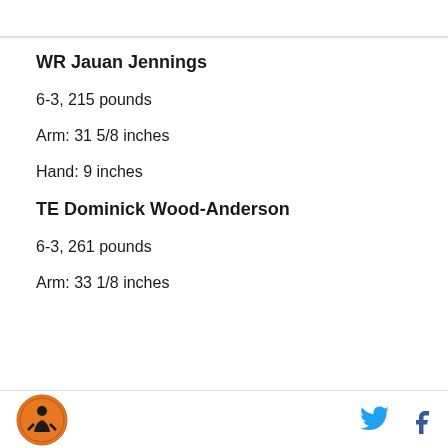WR Jauan Jennings
6-3, 215 pounds
Arm: 31 5/8 inches
Hand: 9 inches
TE Dominick Wood-Anderson
6-3, 261 pounds
Arm: 33 1/8 inches
[Figure (logo): Sports website orange circular logo with sports figure silhouette]
[Figure (logo): Twitter bird icon in blue]
[Figure (logo): Facebook f icon in blue]